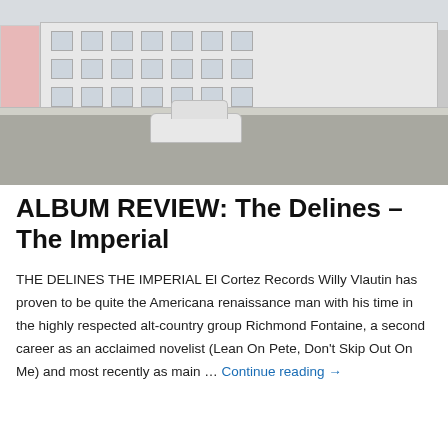[Figure (photo): Photograph of a white apartment building with a parking lot in the foreground; a white car is parked near the building. A pink building is partially visible on the left. Windows with air conditioning units line the building facade.]
ALBUM REVIEW: The Delines – The Imperial
THE DELINES THE IMPERIAL El Cortez Records Willy Vlautin has proven to be quite the Americana renaissance man with his time in the highly respected alt-country group Richmond Fontaine, a second career as an acclaimed novelist (Lean On Pete, Don't Skip Out On Me) and most recently as main … Continue reading →